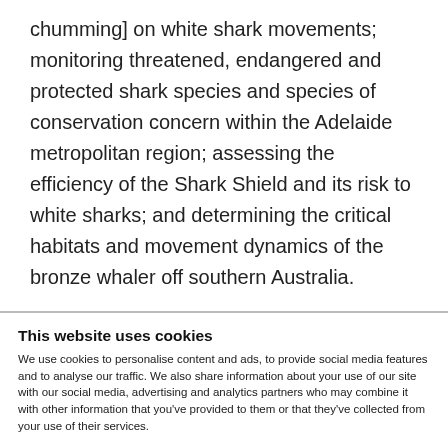chumming] on white shark movements; monitoring threatened, endangered and protected shark species and species of conservation concern within the Adelaide metropolitan region; assessing the efficiency of the Shark Shield and its risk to white sharks; and determining the critical habitats and movement dynamics of the bronze whaler off southern Australia.
This website uses cookies
We use cookies to personalise content and ads, to provide social media features and to analyse our traffic. We also share information about your use of our site with our social media, advertising and analytics partners who may combine it with other information that you've provided to them or that they've collected from your use of their services.
Use necessary cookies only | Allow all cookies
Show details